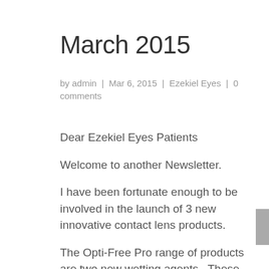March 2015
by admin | Mar 6, 2015 | Ezekiel Eyes | 0 comments
Dear Ezekiel Eyes Patients
Welcome to another Newsletter.
I have been fortunate enough to be involved in the launch of 3 new innovative contact lens products.
The Opti-Free Pro range of products are two new wetting agents.  These products are to be pro-actively incorporated into a patient's